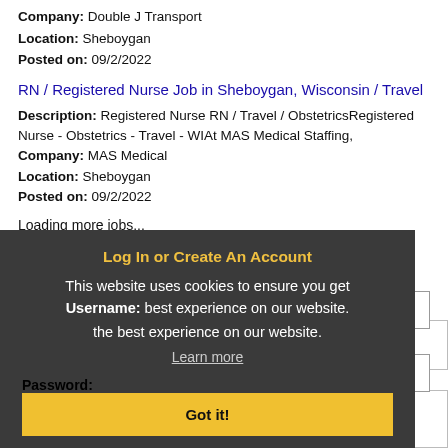Company: Double J Transport
Location: Sheboygan
Posted on: 09/2/2022
RN / Registered Nurse Job in Sheboygan, Wisconsin / Travel
Description: Registered Nurse RN / Travel / ObstetricsRegistered Nurse - Obstetrics - Travel - WIAt MAS Medical Staffing,
Company: MAS Medical
Location: Sheboygan
Posted on: 09/2/2022
Loading more jobs...
Log In or Create An Account
This website uses cookies to ensure you get the best experience on our website.
Learn more
Username:
Password:
Got it!